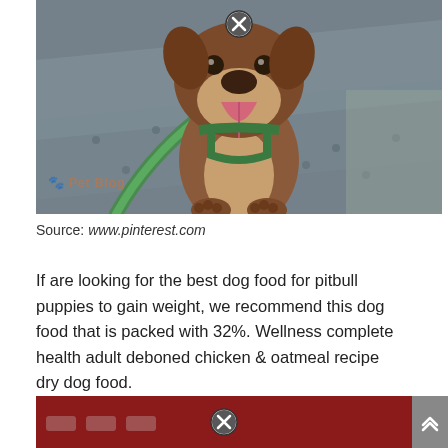[Figure (photo): A brown and white pitbull puppy wearing a green harness and leash, looking up at the camera with tongue out, standing on a metal surface. A 'Pet Blog' watermark is visible in the lower left. A close/X button overlay appears at the top center of the image.]
Source: www.pinterest.com
If are looking for the best dog food for pitbull puppies to gain weight, we recommend this dog food that is packed with 32%. Wellness complete health adult deboned chicken & oatmeal recipe dry dog food.
[Figure (photo): Bottom portion of a dark red/maroon banner with a close/X button overlay at the top center, partially visible at the bottom of the page.]